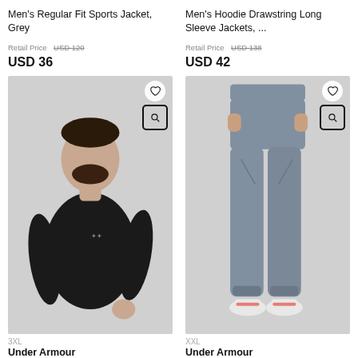Men's Regular Fit Sports Jacket, Grey
Retail Price USD 120
USD 36
Men's Hoodie Drawstring Long Sleeve Jackets, ...
Retail Price USD 138
USD 42
[Figure (photo): Man wearing black long sleeve Under Armour compression shirt, 3XL size]
[Figure (photo): Lower body shot of person wearing grey athletic jogger pants, XXL size, with white sneakers]
3XL
Under Armour
XXL
Under Armour